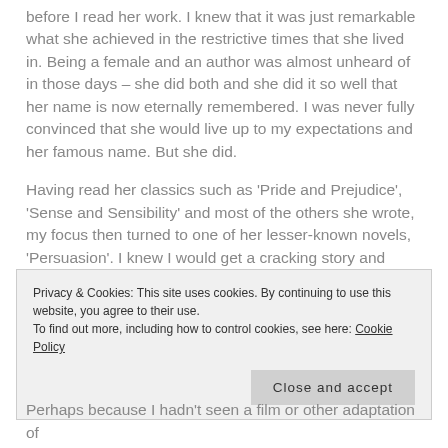before I read her work. I knew that it was just remarkable what she achieved in the restrictive times that she lived in. Being a female and an author was almost unheard of in those days – she did both and she did it so well that her name is now eternally remembered. I was never fully convinced that she would live up to my expectations and her famous name. But she did.
Having read her classics such as 'Pride and Prejudice', 'Sense and Sensibility' and most of the others she wrote, my focus then turned to one of her lesser-known novels, 'Persuasion'. I knew I would get a cracking story and fantastically vivid characters. But Anne Elliott was refreshingly different to
Privacy & Cookies: This site uses cookies. By continuing to use this website, you agree to their use.
To find out more, including how to control cookies, see here: Cookie Policy
Close and accept
Perhaps because I hadn't seen a film or other adaptation of